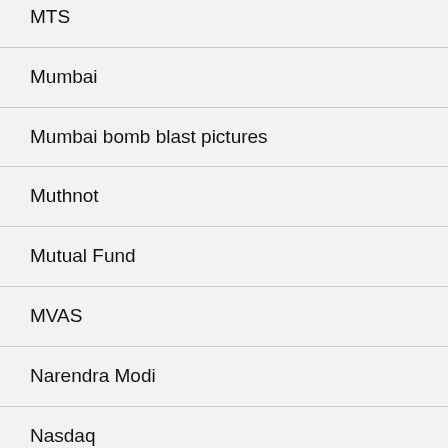MTS
Mumbai
Mumbai bomb blast pictures
Muthnot
Mutual Fund
MVAS
Narendra Modi
Nasdaq